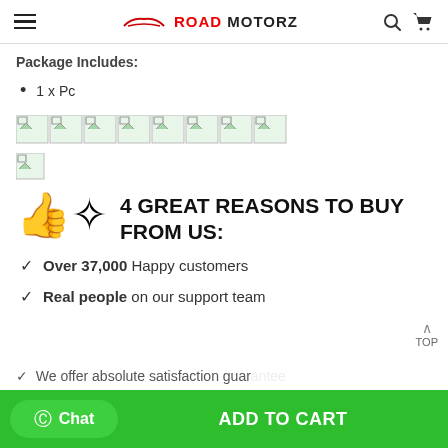ROAD MOTORZ
Package Includes:
1 x Pc
[Figure (other): Row of broken/placeholder product images]
[Figure (other): Single broken/placeholder image]
4 GREAT REASONS TO BUY FROM US:
Over 37,000 Happy customers
Real people on our support team
We offer absolute satisfaction guar...
Chat | ADD TO CART